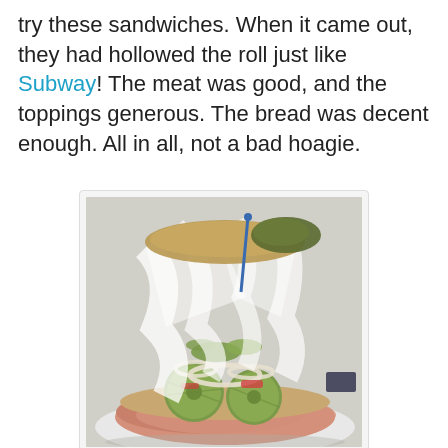try these sandwiches. When it came out, they had hollowed the roll just like Subway! The meat was good, and the toppings generous. The bread was decent enough. All in all, not a bad hoagie.
[Figure (photo): A hoagie/sub sandwich partially wrapped in white paper/plastic wrap, showing ham slices, pickle slices, onions, and other toppings visible from the open end.]